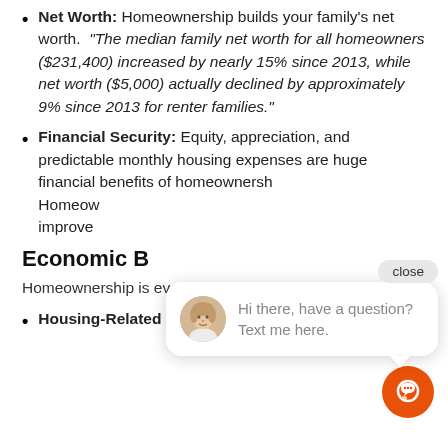Net Worth: Homeownership builds your family's net worth. "The median family net worth for all homeowners ($231,400) increased by nearly 15% since 2013, while net worth ($5,000) actually declined by approximately 9% since 2013 for renter families."
Financial Security: Equity, appreciation, and predictable monthly housing expenses are huge financial benefits of homeownership. Homeownership also improve...
Economic B...
Homeownership is even a local economic driver.
Housing-Related Spending: An economic
[Figure (screenshot): Chat widget overlay showing a close button, a chat bubble with a female avatar photo and the text 'Hi there, have a question? Text me here.' and an orange circular chat icon button.]